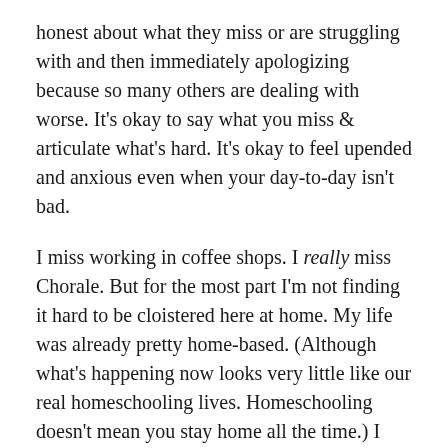honest about what they miss or are struggling with and then immediately apologizing because so many others are dealing with worse. It's okay to say what you miss & articulate what's hard. It's okay to feel upended and anxious even when your day-to-day isn't bad.
I miss working in coffee shops. I really miss Chorale. But for the most part I'm not finding it hard to be cloistered here at home. My life was already pretty home-based. (Although what's happening now looks very little like our real homeschooling lives. Homeschooling doesn't mean you stay home all the time.) I look forward to my early-morning writing sessions, watching the sun rise and listening for the train whistle, the Northern flicker, the first sparrow's call. I wish I could spend these strange days just hanging out with my kids and making art. I wish I were doing a better job of documenting it all. I wish the federal government would do its job. I wish for people